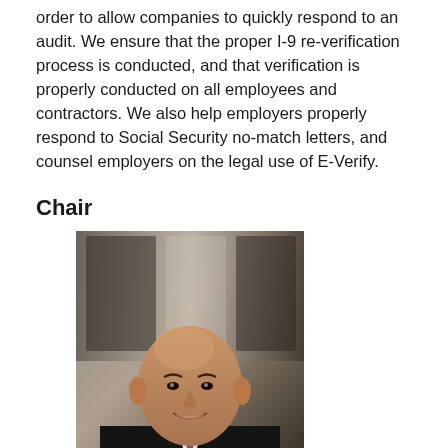order to allow companies to quickly respond to an audit. We ensure that the proper I-9 re-verification process is conducted, and that verification is properly conducted on all employees and contractors. We also help employers properly respond to Social Security no-match letters, and counsel employers on the legal use of E-Verify.
Chair
[Figure (photo): Professional headshot of a middle-aged bald man in a dark suit and tie, smiling, with a blurred office/window background.]
Richard Block